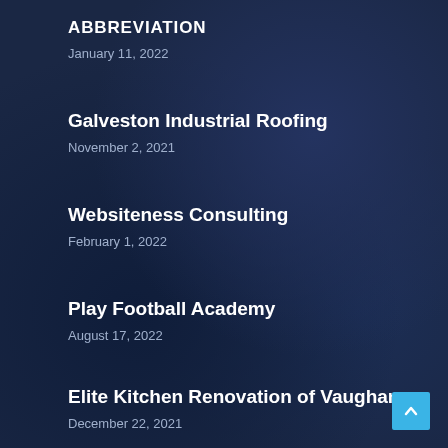ABBREVIATION
January 11, 2022
Galveston Industrial Roofing
November 2, 2021
Websiteness Consulting
February 1, 2022
Play Football Academy
August 17, 2022
Elite Kitchen Renovation of Vaughan
December 22, 2021